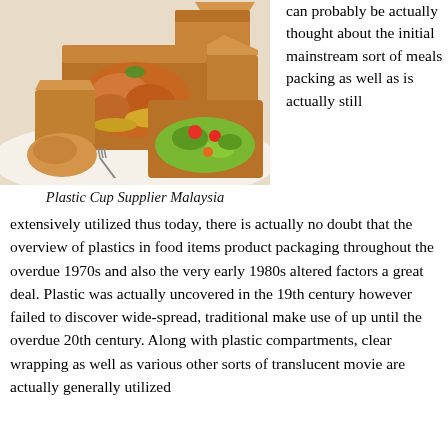[Figure (photo): Photo of takeaway food boxes made of brown kraft paper/cardboard, containing grilled chicken with rice and a salad with vegetables, arranged on a white surface with bread rolls]
can probably be actually thought about the initial mainstream sort of meals packing as well as is actually still extensively utilized thus today, there is actually no doubt that the overview of plastics in food items product packaging throughout the overdue 1970s and also the very early 1980s altered factors a great deal. Plastic was actually uncovered in the 19th century however failed to discover wide-spread, traditional make use of up until the overdue 20th century. Along with plastic compartments, clear wrapping as well as various other sorts of translucent movie are actually generally utilized
Plastic Cup Supplier Malaysia